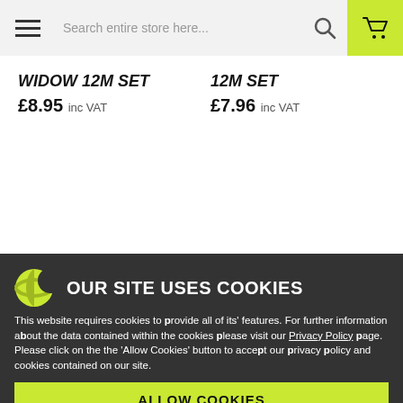Search entire store here...
WIDOW 12M SET
£8.95 inc VAT
12M SET
£7.96 inc VAT
OUR SITE USES COOKIES
This website requires cookies to provide all of its' features. For further information about the data contained within the cookies please visit our Privacy Policy page. Please click on the the 'Allow Cookies' button to accept our privacy policy and cookies contained on our site.
ALLOW COOKIES